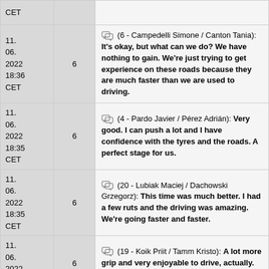| Date | No. | Quote |
| --- | --- | --- |
| 11. 06. 2022 18:36 CET | 6 | (6 - Campedelli Simone / Canton Tania): It's okay, but what can we do? We have nothing to gain. We're just trying to get experience on these roads because they are much faster than we are used to driving. |
| 11. 06. 2022 18:35 CET | 6 | (4 - Pardo Javier / Pérez Adrián): Very good. I can push a lot and I have confidence with the tyres and the roads. A perfect stage for us. |
| 11. 06. 2022 18:35 CET | 6 | (20 - Lubiak Maciej / Dachowski Grzegorz): This time was much better. I had a few ruts and the driving was amazing. We're going faster and faster. |
| 11. 06. 2022 18:34 CET | 6 | (19 - Koik Priit / Tamm Kristo): A lot more grip and very enjoyable to drive, actually. This stage I really like. |